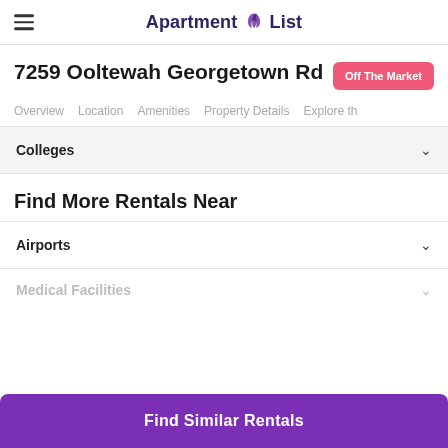Apartment List
7259 Ooltewah Georgetown Rd
Off The Market
Overview  Location  Amenities  Property Details  Explore th
Colleges
Find More Rentals Near
Airports
Medical Facilities
Find Similar Rentals